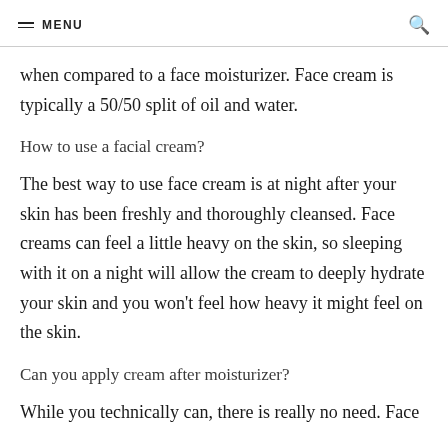MENU
when compared to a face moisturizer. Face cream is typically a 50/50 split of oil and water.
How to use a facial cream?
The best way to use face cream is at night after your skin has been freshly and thoroughly cleansed. Face creams can feel a little heavy on the skin, so sleeping with it on a night will allow the cream to deeply hydrate your skin and you won't feel how heavy it might feel on the skin.
Can you apply cream after moisturizer?
While you technically can, there is really no need. Face